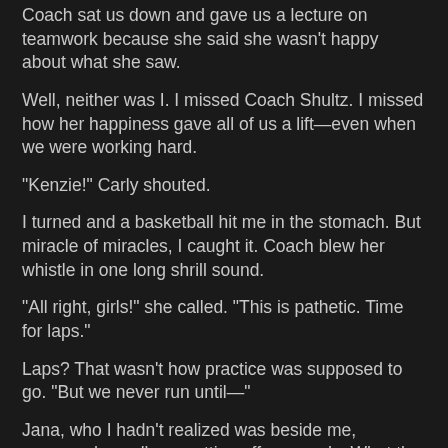Coach sat us down and gave us a lecture on teamwork because she said she wasn't happy about what she saw.
Well, neither was I. I missed Coach Shultz. I missed how her happiness gave all of us a lift—even when we were working hard.
“Kenzie!” Carly shouted.
I turned and a basketball hit me in the stomach. But miracle of miracles, I caught it. Coach blew her whistle in one long shrill sound.
“All right, girls!” she called. “This is pathetic. Time for laps.”
Laps? That wasn’t how practice was supposed to go. “But we never run until—”
Jana, who I hadn’t realized was beside me, squeezed my elbow, cutting off my words. What the heck was I doing? I should know by now the woman didn’t appreciate my helpful hints.
Coach Dunbar walked toward me through the crowd of my